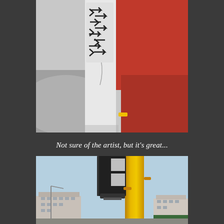[Figure (photo): Close-up photo of a white post or bollard with graffiti/sticker showing arrow-like tag art, with a red surface and road visible in the background, and a small yellow element visible.]
Not sure of the artist, but it’s great...
[Figure (photo): Street-level photo looking up at a yellow traffic/crossing pole with a dark pedestrian signal box attached, against a clear blue sky, with urban buildings visible in the background.]